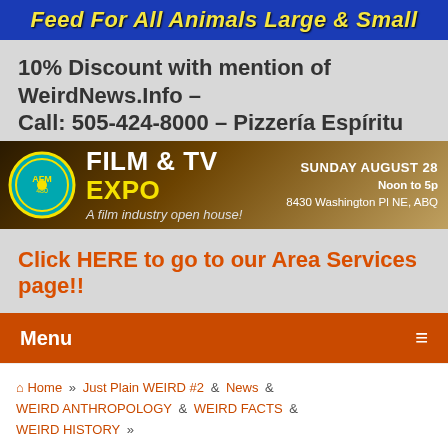Feed For All Animals Large & Small
10% Discount with mention of WeirdNews.Info – Call: 505-424-8000 – Pizzería Espíritu
[Figure (infographic): Film & TV Expo banner. Text: FILM & TV EXPO – A film industry open house! SUNDAY AUGUST 28 Noon to 5p 8430 Washington Pl NE, ABQ]
Click HERE to go to our Area Services page!!
Menu
Home » Just Plain WEIRD #2 & News & WEIRD ANTHROPOLOGY & WEIRD FACTS & WEIRD HISTORY » The Forgotten Drink That Caffeinated North America for Centuries